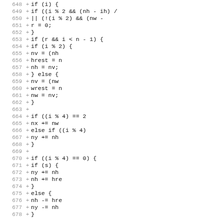[Figure (screenshot): Code diff view showing lines 648-678 of source code with line numbers, plus signs, and C-like code fragments including conditionals and variable assignments such as if ((i % 2 && (nh - ih)), r = 0, if (r && i < n - 1), nv = (nh..., hrest = n..., nh = nv, } else {, nv = (nw..., wrest = n..., nw = nv, if ((i % 4) == 2, nx += nw, else if ((i % 4), ny += nh, if ((i % 4) == 0) {, if (s) {, ny += nh, nh += hre..., else {, nh -= hre..., ny -= nh]